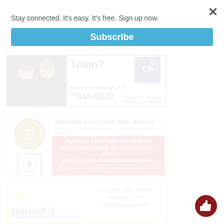Stay connected. It's easy. It's free. Sign up now.
Subscribe
[Figure (photo): Coldwell Banker Realty Gundaker advertisement showing two women agents and the text: Team? Buying or Selling Call Us at 314 845-0042, Coldwell Banker Realty Gundaker logo]
[Figure (photo): Mehlville Fire Protection District advertisement with emblem and NFPA logo on left, blue title 'Mehlville Fire Protection District', subtitle 'Providing Fire and EMS services in a fiscally responsible manner', red box with address: 11020 Mueller Road, St. Louis, Missouri 63123, (314) 894-0420, www.mehlvillefire.com, quote: Protecting Life and Property in South St. Louis County for Over 60 Years]
[Figure (photo): HouseFit Wellness for Older Adults advertisement with yellow star logo, text: We Help Older Adults Maximize Their Independence And]